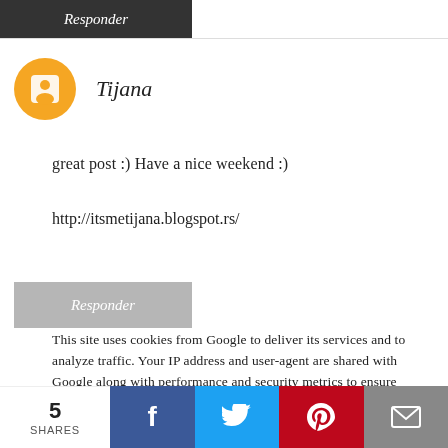Responder
Tijana
great post :) Have a nice weekend :)
http://itsmetijana.blogspot.rs/
Responder
This site uses cookies from Google to deliver its services and to analyze traffic. Your IP address and user-agent are shared with Google along with performance and security metrics to ensure quality of service, generate usage statistics, and to detect and address abuse.
Ainda não conhecia!
5 SHARES